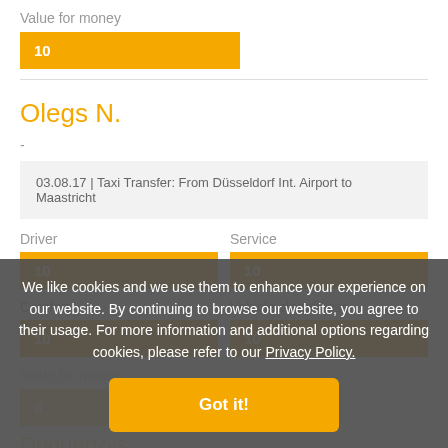Value for money
[Figure (infographic): Orange rating bar showing score 10 for Value for money]
Olegs N.
-
03.08.17 | Taxi Transfer: From Düsseldorf Int. Airport to Maastricht
Driver
[Figure (infographic): Orange rating bar showing score 10 for Driver]
Service
[Figure (infographic): Orange rating bar showing score 10 for Service]
Comfort
[Figure (infographic): Orange rating bar showing score 10 for Comfort]
Vehicle cleanliness
[Figure (infographic): Orange rating bar showing score 10 for Vehicle cleanliness]
Value for money
8
Duquerrois...
Très efficace, trè...
We like cookies and we use them to enhance your experience on our website. By continuing to browse our website, you agree to their usage. For more information and additional options regarding cookies, please refer to our Privacy Policy.
Got it!